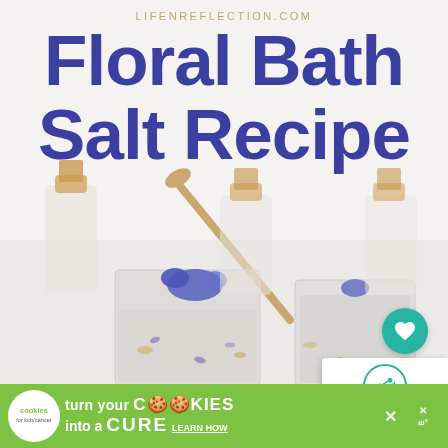LIFENREFLECTION.COM
Floral Bath Salt Recipe
[Figure (photo): Mason jars filled with floral bath salts topped with blue dried flowers, a wooden spoon resting in the front jar, with glass bottles with cork stoppers in the background on a white surface]
Privacy · Terms
WHAT'S NEXT → DIY Garden Bath Tea
turn your COOKIES into a CURE LEARN HOW